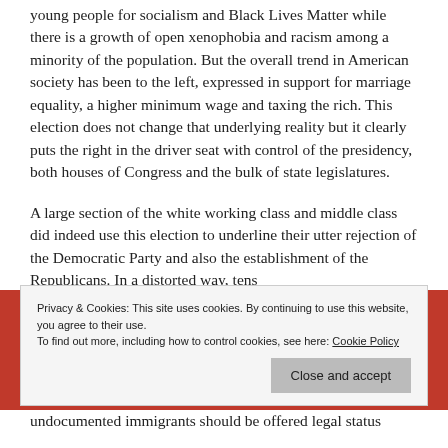young people for socialism and Black Lives Matter while there is a growth of open xenophobia and racism among a minority of the population. But the overall trend in American society has been to the left, expressed in support for marriage equality, a higher minimum wage and taxing the rich. This election does not change that underlying reality but it clearly puts the right in the driver seat with control of the presidency, both houses of Congress and the bulk of state legislatures.
A large section of the white working class and middle class did indeed use this election to underline their utter rejection of the Democratic Party and also the establishment of the Republicans. In a distorted way, tens
Privacy & Cookies: This site uses cookies. By continuing to use this website, you agree to their use. To find out more, including how to control cookies, see here: Cookie Policy
undocumented immigrants should be offered legal status